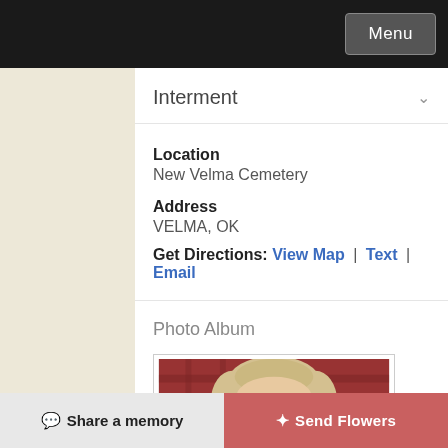Menu
Interment
Location
New Velma Cemetery
Address
VELMA, OK
Get Directions: View Map | Text | Email
Photo Album
[Figure (photo): Portrait photo of an elderly woman with light curly hair and glasses, wearing a red patterned top, photographed indoors]
Share a memory   Send Flowers